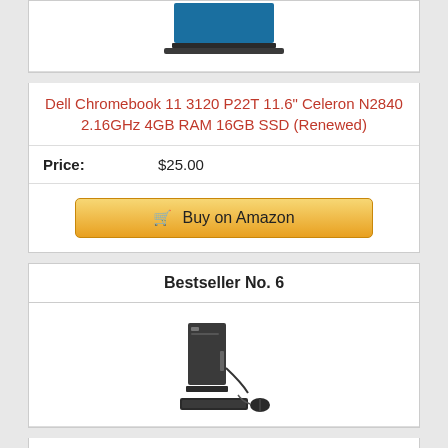[Figure (photo): Partial view of a laptop (Dell Chromebook) from top — only the bottom portion visible]
Dell Chromebook 11 3120 P22T 11.6" Celeron N2840 2.16GHz 4GB RAM 16GB SSD (Renewed)
Price: $25.00
Buy on Amazon
Bestseller No. 6
[Figure (photo): Dell Optiplex 7020 desktop computer with keyboard and mouse]
Dell Optiplex 7020 Desktop Computer, Intel Quad-Core i7-4770-3.4GHz, 32 GB RAM, 512GB SSD, DVD, USB